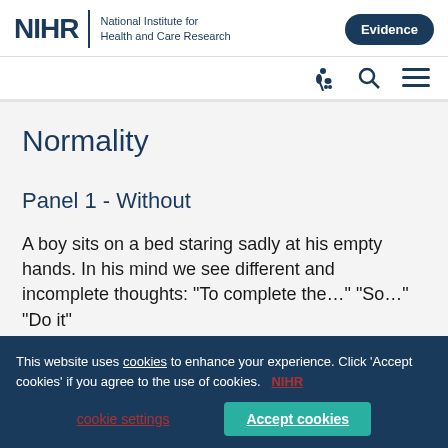NIHR | National Institute for Health and Care Research | Evidence
Normality
Panel 1 - Without
A boy sits on a bed staring sadly at his empty hands. In his mind we see different and incomplete thoughts: "To complete the…" "So…" "Do it"…
This website uses cookies to enhance your experience. Click 'Accept cookies' if you agree to the use of cookies. NIHR cookie settings | Accept cookies